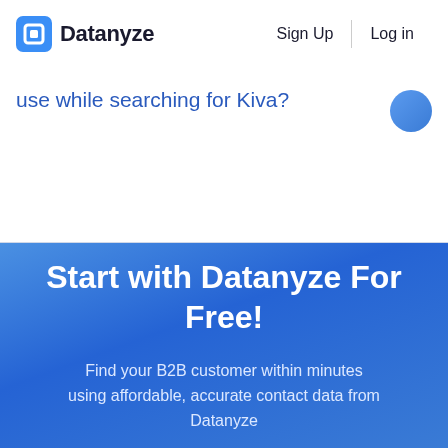Datanyze | Sign Up | Log in
use while searching for Kiva?
Start with Datanyze For Free!
Find your B2B customer within minutes using affordable, accurate contact data from Datanyze